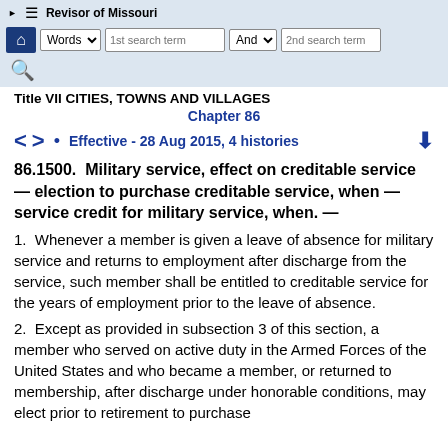Revisor of Missouri — navigation bar with search
Title VII CITIES, TOWNS AND VILLAGES
Chapter 86
Effective - 28 Aug 2015, 4 histories
86.1500.  Military service, effect on creditable service — election to purchase creditable service, when — service credit for military service, when. —
1.  Whenever a member is given a leave of absence for military service and returns to employment after discharge from the service, such member shall be entitled to creditable service for the years of employment prior to the leave of absence.
2.  Except as provided in subsection 3 of this section, a member who served on active duty in the Armed Forces of the United States and who became a member, or returned to membership, after discharge under honorable conditions, may elect prior to retirement to purchase creditable service in the same manner as other members.